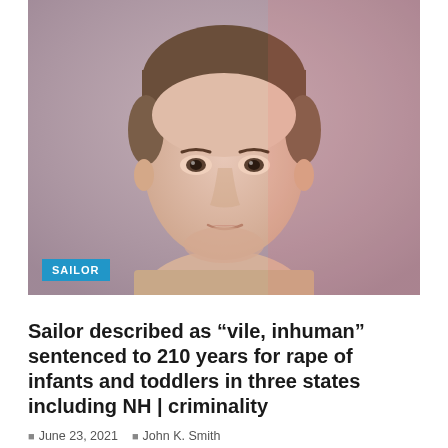[Figure (photo): Mugshot-style photo of a young white male with short brown hair against a neutral background. A blue badge labeled SAILOR appears in the lower left corner of the photo.]
Sailor described as “vile, inhuman” sentenced to 210 years for rape of infants and toddlers in three states including NH | criminality
June 23, 2021   John K. Smith
NEW LONDON, Connecticut – Navy sailor Randall was sentenced Tuesday to 210 years…